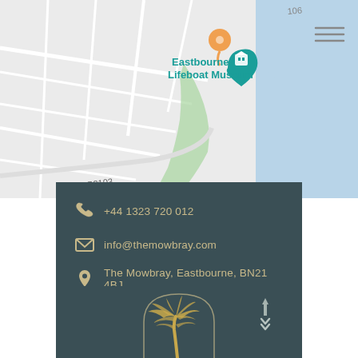[Figure (map): Google Maps screenshot showing Eastbourne Lifeboat Museum location with orange pin marker, teal selected location pin, street layout, and B2103 coastal road label. Blue sea area visible on right.]
+44 1323 720 012
info@themowbray.com
The Mowbray, Eastbourne, BN21 4BJ
[Figure (illustration): Decorative palm tree inside an arch outline, with a compass/arrow icon to the right, all in gold/tan color on dark teal background.]